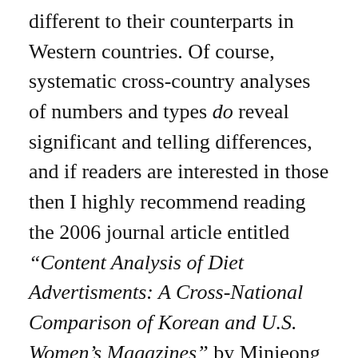different to their counterparts in Western countries. Of course, systematic cross-country analyses of numbers and types do reveal significant and telling differences, and if readers are interested in those then I highly recommend reading the 2006 journal article entitled “Content Analysis of Diet Advertisments: A Cross-National Comparison of Korean and U.S. Women’s Magazines” by Minjeong Kim and Sharron Lennon, downloadable here. But surveys like those do not chronicle average Korean and Western women’s reactions to them, and herein lies the essential differences between